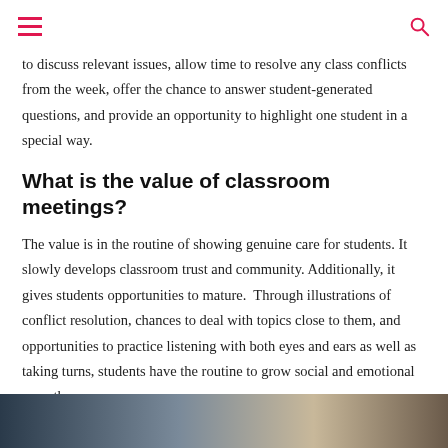to discuss relevant issues, allow time to resolve any class conflicts from the week, offer the chance to answer student-generated questions, and provide an opportunity to highlight one student in a special way.
What is the value of classroom meetings?
The value is in the routine of showing genuine care for students. It slowly develops classroom trust and community. Additionally, it gives students opportunities to mature.  Through illustrations of conflict resolution, chances to deal with topics close to them, and opportunities to practice listening with both eyes and ears as well as taking turns, students have the routine to grow social and emotional empathy.
[Figure (photo): Partial photo strip at the bottom of the page showing people in a classroom or group setting]